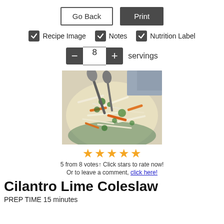Go Back | Print
Recipe Image  Notes  Nutrition Label
8 servings
[Figure (photo): Overhead close-up photo of cilantro lime coleslaw with shredded cabbage, carrots, and cilantro garnish, with serving spoons in a bowl]
★★★★★ 5 from 8 votes↑ Click stars to rate now! Or to leave a comment, click here!
Cilantro Lime Coleslaw
PREP TIME  15 minutes